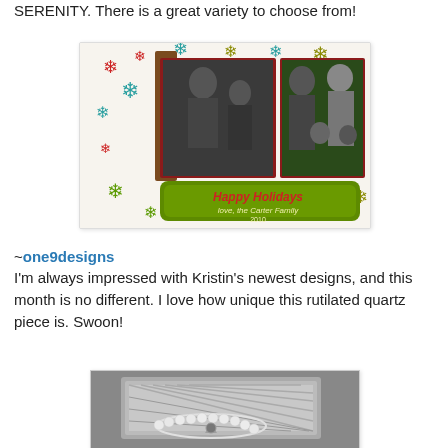SERENITY. There is a great variety to choose from!
[Figure (photo): Holiday photo card featuring a family with two photos, colorful snowflakes border, and 'Happy Holidays Love, the Carter Family 2010' text in green script]
~one9designs
I'm always impressed with Kristin's newest designs, and this month is no different. I love how unique this rutilated quartz piece is. Swoon!
[Figure (photo): Black and white photo of a decorative silver/metal tray with woven pattern and a crystal/pearl bracelet]